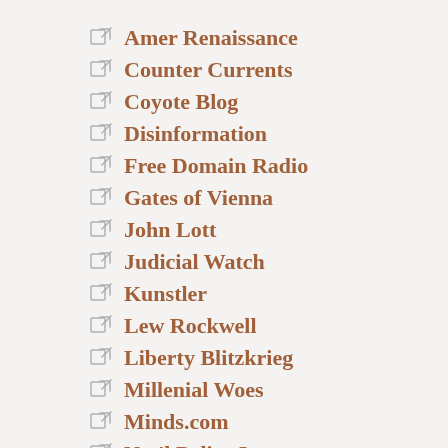Amer Renaissance
Counter Currents
Coyote Blog
Disinformation
Free Domain Radio
Gates of Vienna
John Lott
Judicial Watch
Kunstler
Lew Rockwell
Liberty Blitzkrieg
Millenial Woes
Minds.com
Nat'l Policy Inst.